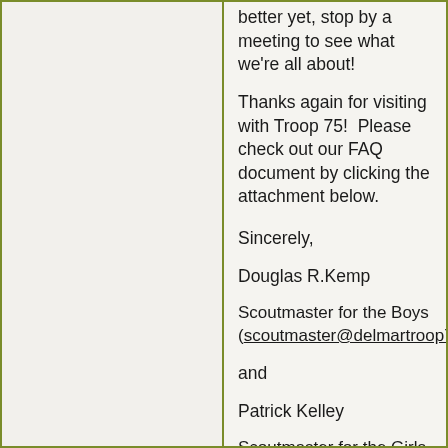[Figure (illustration): Left panel with repeating fleur-de-lis watermark pattern on light beige background, bordered by olive green frame lines.]
better yet, stop by a meeting to see what we're all about!
Thanks again for visiting with Troop 75!  Please check out our FAQ document by clicking the attachment below.
Sincerely,
Douglas R.Kemp
Scoutmaster for the Boys (scoutmaster@delmartroop75b.
and
Patrick Kelley
Scoutmaster for the Girls (scoutmaster@delmartroop75g.